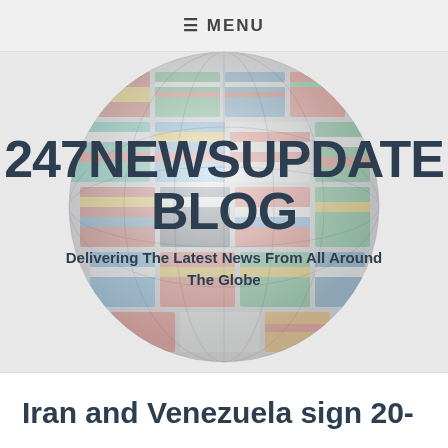≡ MENU
[Figure (illustration): A globe made of colorful national flags, semi-transparent, serving as a background for the blog header]
247NEWSUPDATE BLOG
Delivering The Latest News From All Around The Globe
Iran and Venezuela sign 20-